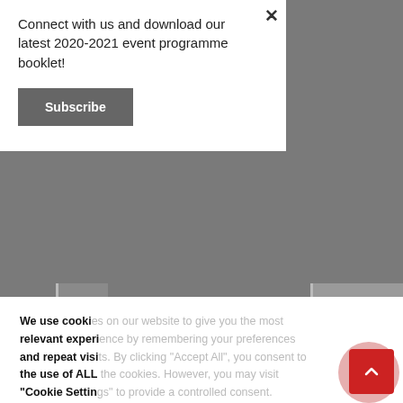[Figure (screenshot): Subscribe modal overlay with text 'Connect with us and download our latest 2020-2021 event programme booklet!' and a Subscribe button]
[Figure (screenshot): Cookie consent modal with text about cookies and two buttons: Cookie Settings and Accept All]
[Figure (screenshot): Social media icon row: Facebook, Twitter, Instagram, LinkedIn, YouTube, LINE, WeChat]
[Figure (screenshot): Scroll to top button (red with up arrow) in bottom right corner]
high similari
moderate diffi
an over rec